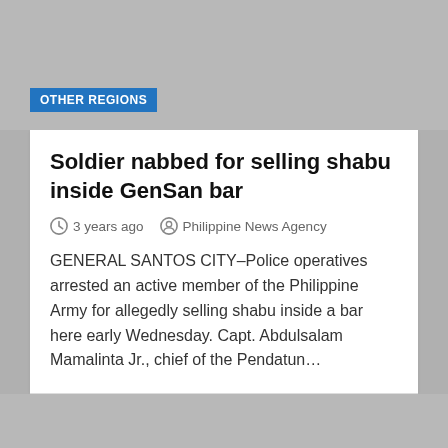OTHER REGIONS
Soldier nabbed for selling shabu inside GenSan bar
3 years ago   Philippine News Agency
GENERAL SANTOS CITY–Police operatives arrested an active member of the Philippine Army for allegedly selling shabu inside a bar here early Wednesday. Capt. Abdulsalam Mamalinta Jr., chief of the Pendatun…